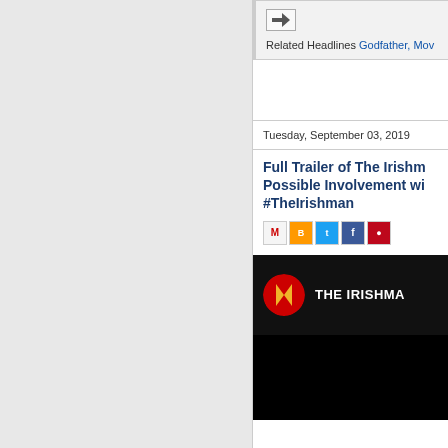[Figure (screenshot): Forward/share icon button in a box]
Related Headlines Godfather, Mov...
Tuesday, September 03, 2019
Full Trailer of The Irishm... Possible Involvement wit... #TheIrishman
[Figure (screenshot): Social share icons: Gmail, Blogger, Twitter, Facebook, Pinterest]
[Figure (screenshot): Video thumbnail showing THE IRISHMA... title with Netflix-style logo on black background]